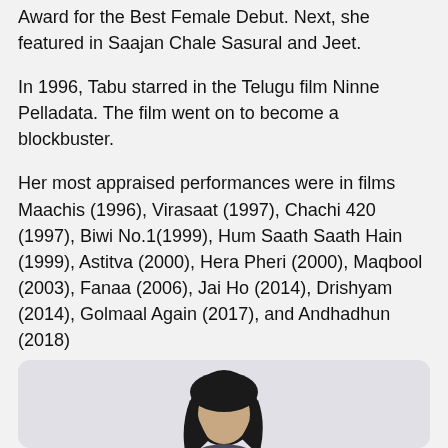Award for the Best Female Debut. Next, she featured in Saajan Chale Sasural and Jeet.
In 1996, Tabu starred in the Telugu film Ninne Pelladata. The film went on to become a blockbuster.
Her most appraised performances were in films Maachis (1996), Virasaat (1997), Chachi 420 (1997), Biwi No.1(1999), Hum Saath Saath Hain (1999), Astitva (2000), Hera Pheri (2000), Maqbool (2003), Fanaa (2006), Jai Ho (2014), Drishyam (2014), Golmaal Again (2017), and Andhadhun (2018)
Tabu has also featured in international films like The Namesake and Life of Pi.
[Figure (photo): Photo of Tabu, a woman with dark hair, partially visible at the bottom of the page against a light grey background.]